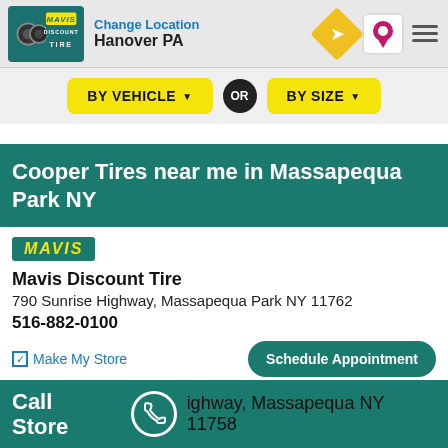Change Location Hanover PA
BY VEHICLE ▼  OR  BY SIZE ▼
Cooper Tires near me in Massapequa Park NY
[Figure (logo): Mavis logo badge (yellow italic text on teal background)]
Mavis Discount Tire
790 Sunrise Highway, Massapequa Park NY 11762
516-882-0100
✓ Make My Store    Schedule Appointment
[Figure (logo): STS Tire logo (red STS italic + white TIRE on black background)]
STS Tire
ightway, Massapequa NY 11758
Call Store